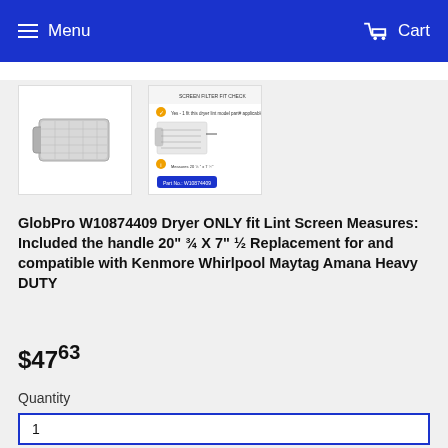Menu  Cart
[Figure (photo): Product photo of a dryer lint screen/filter, gray/silver colored, shown on white background]
[Figure (screenshot): Product detail image showing the lint screen with measurement diagram and part number label]
GlobPro W10874409 Dryer ONLY fit Lint Screen Measures: Included the handle 20" ¾ X 7" ½ Replacement for and compatible with Kenmore Whirlpool Maytag Amana Heavy DUTY
$47.63
Quantity
1